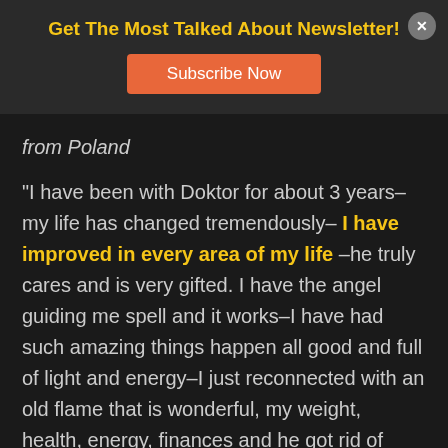Get The Most Talked About Newsletter!
Subscribe Now
from Poland
“I have been with Doktor for about 3 years–my life has changed tremendously– I have improved in every area of my life –he truly cares and is very gifted. I have the angel guiding me spell and it works–I have had such amazing things happen all good and full of light and energy–I just reconnected with an old flame that is wonderful, my weight, health, energy, finances and he got rid of most of my enemies–am so very grateful for you doc, thank you for caring and doing what you are so very